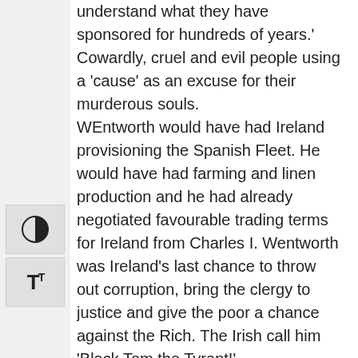understand what they have sponsored for hundreds of years.' Cowardly, cruel and evil people using a 'cause' as an excuse for their murderous souls. WEntworth would have had Ireland provisioning the Spanish Fleet. He would have had farming and linen production and he had already negotiated favourable trading terms for Ireland from Charles I. Wentworth was Ireland's last chance to throw out corruption, bring the clergy to justice and give the poor a chance against the Rich. The Irish call him 'Black Tom the Tyrant!' Funny you should mention India because they too live under the same